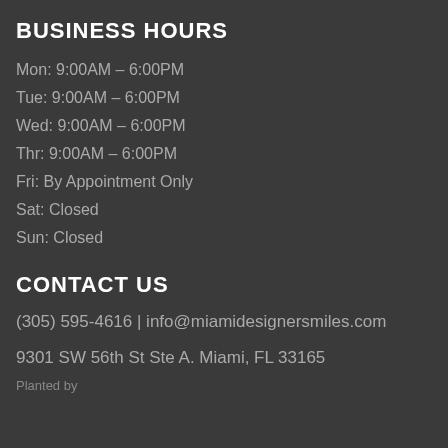BUSINESS HOURS
Mon: 9:00AM – 6:00PM
Tue: 9:00AM – 6:00PM
Wed: 9:00AM – 6:00PM
Thr: 9:00AM – 6:00PM
Fri: By Appointment Only
Sat: Closed
Sun: Closed
CONTACT US
(305) 595-4616 | info@miamidesignersmiles.com
9301 SW 56th St Ste A. Miami, FL 33165
Planted by